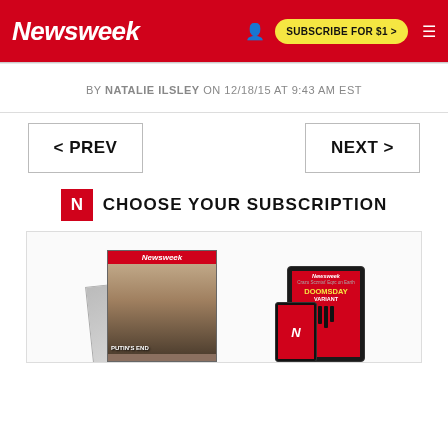Newsweek | SUBSCRIBE FOR $1 >
BY NATALIE ILSLEY ON 12/18/15 AT 9:43 AM EST
[Figure (other): Navigation buttons: < PREV and NEXT >]
CHOOSE YOUR SUBSCRIPTION
[Figure (photo): Newsweek magazine subscription offer showing multiple magazine covers including Putin's End and Doomsday Variant issues, plus tablet and phone display]